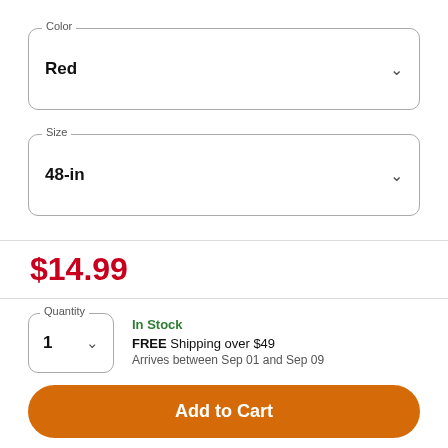Color
Red
Size
48-in
$14.99
Quantity
1
In Stock
FREE Shipping over $49
Arrives between Sep 01 and Sep 09
Add to Cart